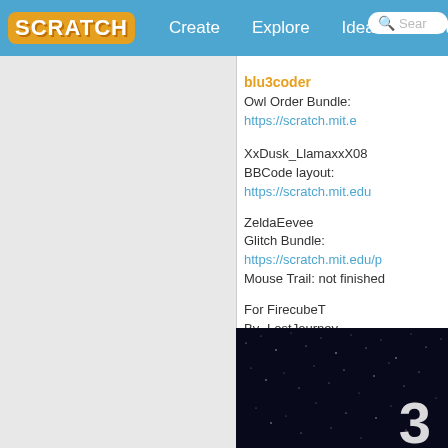SCRATCH | Create | Explore | Ideas | About | Search
(truncated top content)
blu3coder
Owl Order Bundle: https://scratch.mit.e...
XxDusk_LlamaxxX08
BBCode layout: https://scratch.mit.edu...
ZeldaEevee
Glitch Bundle: https://scratch.mit.edu/p...
Mouse Trail: not finished
For FirecubeT
By -LostJourney-
For bananaandchoc1, again by -LostJ...
For Arsxi_ again by -LostJourney-, Los...
31 pages by lightningspark6545
[Figure (screenshot): Dark night sky screenshot with stars and a large number visible]